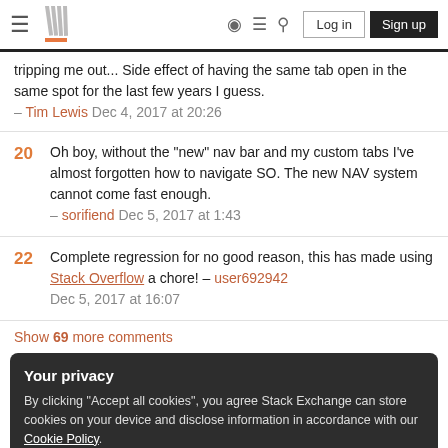Stack Overflow navigation bar with Log in and Sign up buttons
tripping me out... Side effect of having the same tab open in the same spot for the last few years I guess. – Tim Lewis Dec 4, 2017 at 20:26
20 Oh boy, without the "new" nav bar and my custom tabs I've almost forgotten how to navigate SO. The new NAV system cannot come fast enough. – sorifiend Dec 5, 2017 at 1:43
22 Complete regression for no good reason, this has made using Stack Overflow a chore! – user692942 Dec 5, 2017 at 16:07
Show 69 more comments
Your privacy
By clicking "Accept all cookies", you agree Stack Exchange can store cookies on your device and disclose information in accordance with our Cookie Policy.
Accept all cookies | Customize settings
155 because I think it's something critical to keep in